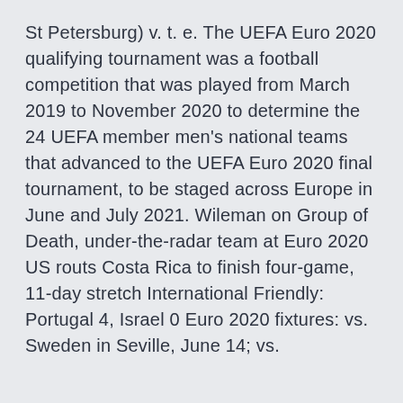St Petersburg) v. t. e. The UEFA Euro 2020 qualifying tournament was a football competition that was played from March 2019 to November 2020 to determine the 24 UEFA member men's national teams that advanced to the UEFA Euro 2020 final tournament, to be staged across Europe in June and July 2021. Wileman on Group of Death, under-the-radar team at Euro 2020 US routs Costa Rica to finish four-game, 11-day stretch International Friendly: Portugal 4, Israel 0 Euro 2020 fixtures: vs. Sweden in Seville, June 14; vs.